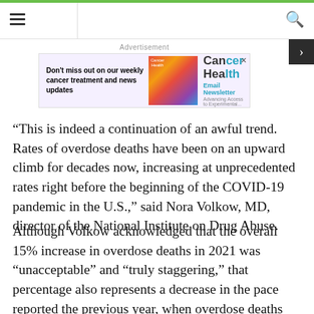Navigation header with hamburger menu and search icon
[Figure (other): Advertisement banner for Cancer Health Email Newsletter]
“This is indeed a continuation of an awful trend. Rates of overdose deaths have been on an upward climb for decades now, increasing at unprecedented rates right before the beginning of the COVID-19 pandemic in the U.S.,” said Nora Volkow, MD, director of the National Institute on Drug Abuse.
Although Volkow acknowledged that the overall 15% increase in overdose deaths in 2021 was “unacceptable” and “truly staggering,” that percentage also represents a decrease in the pace reported the previous year, when overdose deaths increased by 30% from 2019 to 2020.